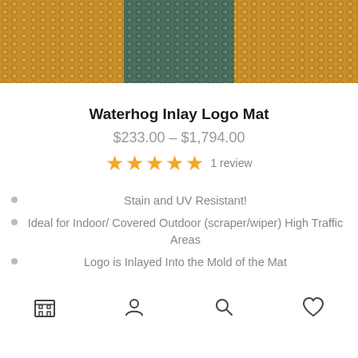[Figure (photo): Close-up photo of a Waterhog mat with tan/golden looped texture and dark teal/green inlay pattern in the center]
Waterhog Inlay Logo Mat
$233.00 – $1,794.00
★★★★★ 1 review
Stain and UV Resistant!
Ideal for Indoor/ Covered Outdoor (scraper/wiper) High Traffic Areas
Logo is Inlayed Into the Mold of the Mat